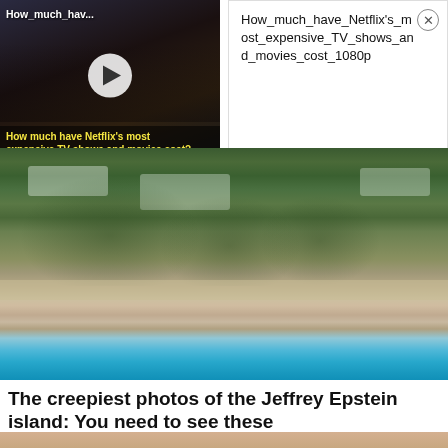[Figure (screenshot): Video thumbnail showing two people in period costume, with text overlay 'How_much_hav...' at top and play button in center, caption 'How much have Netflix's most expensive TV shows and movies cost?']
How_much_have_Netflix's_most_expensive_TV_shows_and_movies_cost_1080p
[Figure (photo): Aerial photograph of Jeffrey Epstein's island showing buildings, palm trees, shoreline and turquoise water]
The creepiest photos of the Jeffrey Epstein island: You need to see these
Film Daily
[Figure (photo): Partial image visible at bottom of page, appears to be a close-up photo]